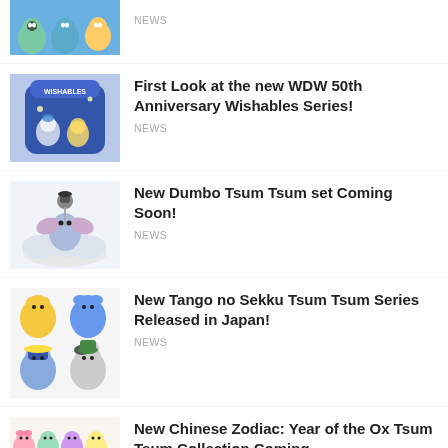[Figure (photo): Partial news item thumbnail showing Disney Tsum Tsum characters (Toy Story aliens etc.), cropped at top]
NEWS
[Figure (photo): Disney Wishables mystery bag package with Donald Duck and other characters]
First Look at the new WDW 50th Anniversary Wishables Series!
NEWS
[Figure (photo): Dumbo Tsum Tsum carousel set with Dumbo and friends on a cloud base]
New Dumbo Tsum Tsum set Coming Soon!
NEWS
[Figure (photo): Tango no Sekku Tsum Tsum series showing Winnie the Pooh, Stitch, Donald Duck, and Goofy plush figures]
New Tango no Sekku Tsum Tsum Series Released in Japan!
NEWS
[Figure (photo): Chinese Zodiac Year of the Ox Tsum Tsum collection with multiple colorful plush characters]
New Chinese Zodiac: Year of the Ox Tsum Tsum Collection Coming...
NEWS